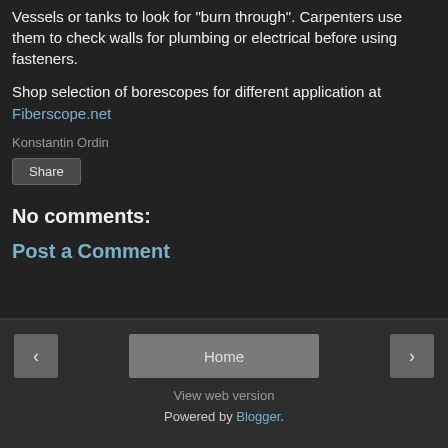Vessels or tanks to look for "burn through". Carpenters use them to check walls for plumbing or electrical before using fasteners.
Shop selection of borescopes for different application at Fiberscope.net
Konstantin Ordin
Share
No comments:
Post a Comment
‹  Home  ›  View web version  Powered by Blogger.